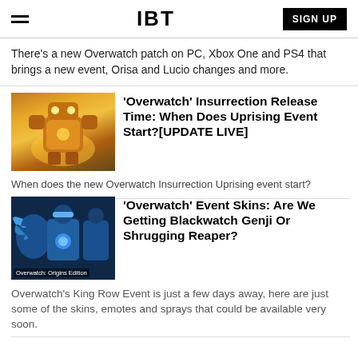IBT | SIGN UP
There's a new Overwatch patch on PC, Xbox One and PS4 that brings a new event, Orisa and Lucio changes and more.
[Figure (illustration): Overwatch game character, a large armored robot glowing yellow/orange]
'Overwatch' Insurrection Release Time: When Does Uprising Event Start?[UPDATE LIVE]
When does the new Overwatch Insurrection Uprising event start?
[Figure (photo): Overwatch Origins Edition characters in blue armor including Mercy and Pharah, labeled 'Overwatch: Origins Edition']
'Overwatch' Event Skins: Are We Getting Blackwatch Genji Or Shrugging Reaper?
Overwatch's King Row Event is just a few days away, here are just some of the skins, emotes and sprays that could be available very soon.